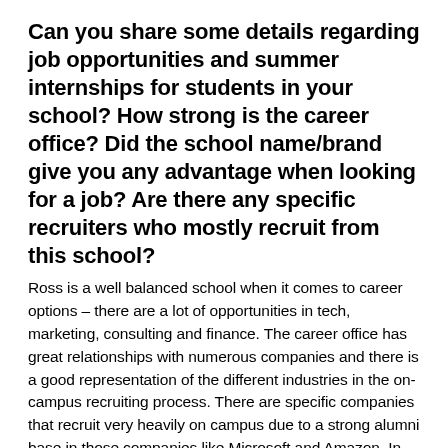Can you share some details regarding job opportunities and summer internships for students in your school? How strong is the career office? Did the school name/brand give you any advantage when looking for a job? Are there any specific recruiters who mostly recruit from this school?
Ross is a well balanced school when it comes to career options – there are a lot of opportunities in tech, marketing, consulting and finance. The career office has great relationships with numerous companies and there is a good representation of the different industries in the on-campus recruiting process. There are specific companies that recruit very heavily on campus due to a strong alumni base in those companies like Microsoft and Amazon. In addition, there are also...